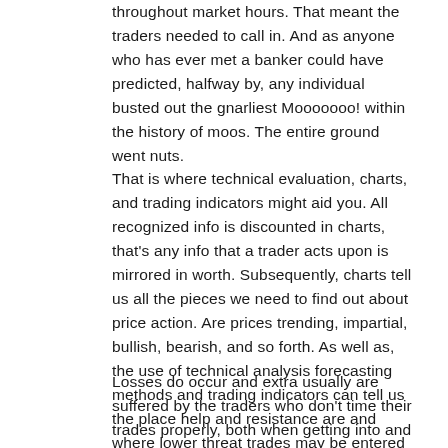throughout market hours. That meant the traders needed to call in. And as anyone who has ever met a banker could have predicted, halfway by, any individual busted out the gnarliest Mooooooo! within the history of moos. The entire ground went nuts.
That is where technical evaluation, charts, and trading indicators might aid you. All recognized info is discounted in charts, that's any info that a trader acts upon is mirrored in worth. Subsequently, charts tell us all the pieces we need to find out about price action. Are prices trending, impartial, bullish, bearish, and so forth. As well as, the use of technical analysis forecasting methods and trading indicators can tell us the place help and resistance are and where lower threat trades may be entered and exited.
Losses do occur and extra usually are suffered by the traders who don't time their trades properly, both when getting into and exiting a trade. To mitigate dangers and to allow the earnings to run the strategy of sound determination from...